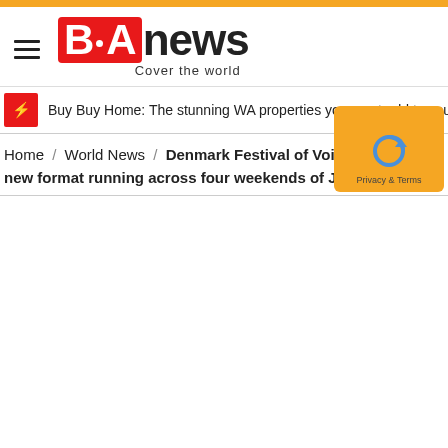[Figure (logo): BANews logo with red BA badge and news text, tagline 'Cover the world']
Buy Buy Home: The stunning WA properties you must add to your viewing lis…
Home / World News / Denmark Festival of Voice returns with new format running across four weekends of June
[Figure (other): Privacy & Terms badge with reCAPTCHA icon on orange background]